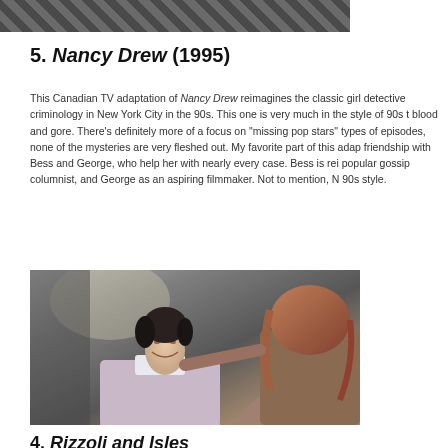[Figure (photo): Partial top of a photo, showing dark clothing with argyle or patterned fabric, cropped at top of page]
5. Nancy Drew (1995)
This Canadian TV adaptation of Nancy Drew reimagines the classic girl detective studying criminology in New York City in the 90s. This one is very much in the style of 90s tv — no blood and gore. There's definitely more of a focus on "missing pop stars" types of episodes, none of the mysteries are very fleshed out. My favorite part of this adaptation is Nancy's friendship with Bess and George, who help her with nearly every case. Bess is reimagined as a popular gossip columnist, and George as an aspiring filmmaker. Not to mention, Nancy's amazing 90s style.
[Figure (photo): Two women in what appears to be a medical or lab setting. One woman with dark hair pulled back is smiling broadly, wearing a light pink or lavender shirt. Another woman with reddish-brown hair is seen from behind. Background shows medical or lab equipment.]
4. Rizzoli and Isles